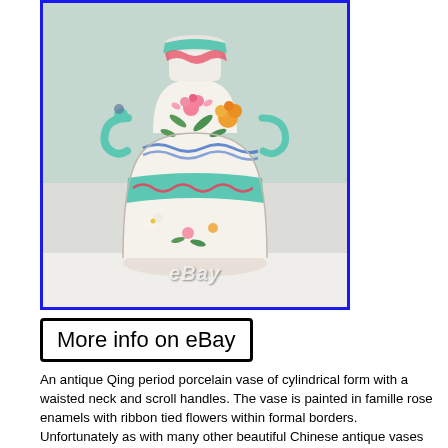[Figure (photo): A Chinese Qing period porcelain vase with a cylindrical form, waisted neck, scroll handles in turquoise, decorated with famille rose enamels showing ribbon-tied flowers, formal borders with pink, orange and white floral motifs on white ground. eBay watermark visible.]
More info on eBay
An antique Qing period porcelain vase of cylindrical form with a waisted neck and scroll handles. The vase is painted in famille rose enamels with ribbon tied flowers within formal borders. Unfortunately as with many other beautiful Chinese antique vases this was drilled as a lamp base Date Height 14 inches Diameter of base 6 inches: Diameter of mouth top 7 inches This Chinese porcelain vase was made in the later part of the 19th century for export to the West. The decoration is hand painted in famille rose